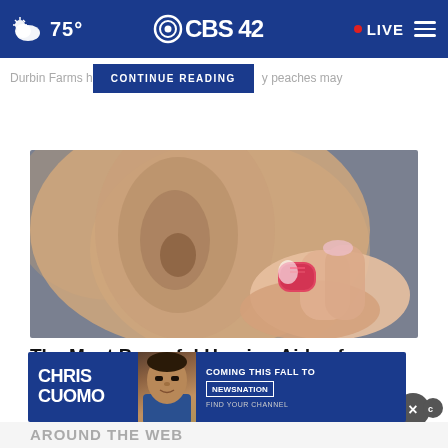75° CBS42 • LIVE
Durbin Farms h   CONTINUE READING   y peaches may
[Figure (photo): Close-up photo of a person inserting a small red/pink hearing aid into their ear, fingers visible holding the device]
The Most Powerful Hearing Aids of 2022 (See Why)
Ad by hear.com
[Figure (screenshot): Advertisement banner for Chris Cuomo coming to NewsNation this fall, with image of Chris Cuomo]
AROUND THE WEB